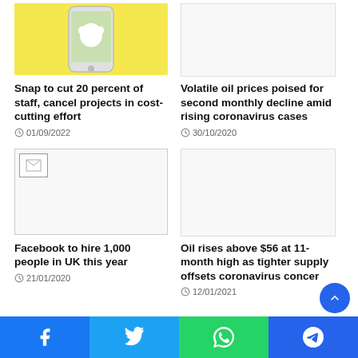[Figure (photo): Snapchat app on a phone on yellow background]
Snap to cut 20 percent of staff, cancel projects in cost-cutting effort
01/09/2022
[Figure (photo): Broken/placeholder image for oil prices article]
Volatile oil prices poised for second monthly decline amid rising coronavirus cases
30/10/2020
Facebook to hire 1,000 people in UK this year
21/01/2020
Oil rises above $56 at 11-month high as tighter supply offsets coronavirus concerns
12/01/2021